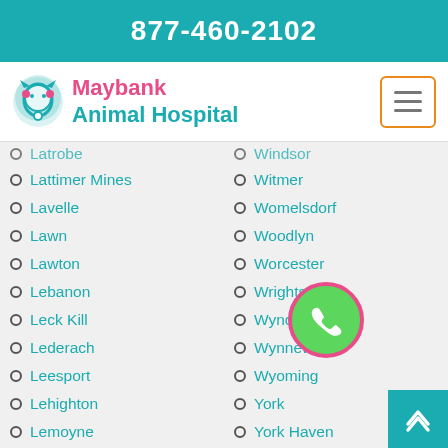877-460-2102
[Figure (logo): Maybank Animal Hospital logo with teal stethoscope/cat icon and pink/teal text]
Lattimer Mines
Lavelle
Lawn
Lawton
Lebanon
Leck Kill
Lederach
Leesport
Lehighton
Lemoyne
Lenhartsville
Lenni
Windsor
Witmer
Womelsdorf
Woodlyn
Worcester
Wrightsville
Wyncote
Wynnewood
Wyoming
York
York Haven
York New Salem
York Springs